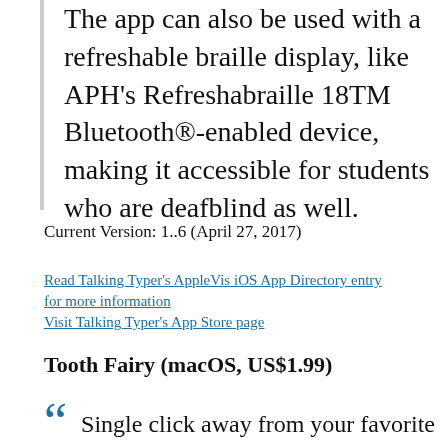The app can also be used with a refreshable braille display, like APH's Refreshabraille 18TM Bluetooth®-enabled device, making it accessible for students who are deafblind as well.
Current Version: 1..6 (April 27, 2017)
Read Talking Typer's AppleVis iOS App Directory entry for more information
Visit Talking Typer's App Store page
Tooth Fairy (macOS, US$1.99)
Single click away from your favorite